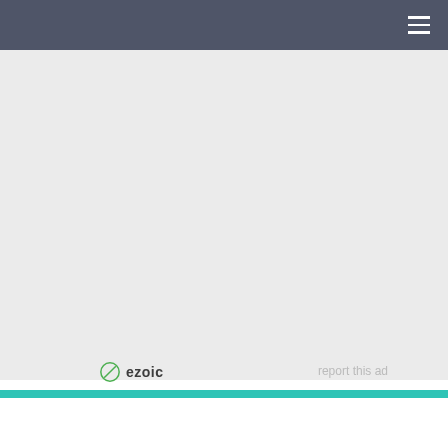[Figure (other): Advertisement placeholder area with light gray background]
ezoic
report this ad